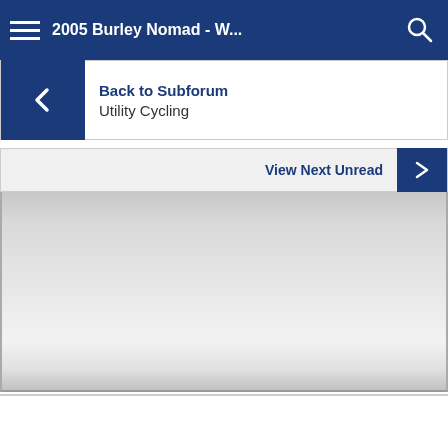Back to Subforum / Utility Cycling — View Next Unread
[Figure (screenshot): Mobile forum app interface showing a navigation bar with hamburger menu and search icon, a 'Back to Subforum / Utility Cycling' navigation row with back arrow, a 'View Next Unread' button, and an open dropdown overlay partially obscuring the content below.]